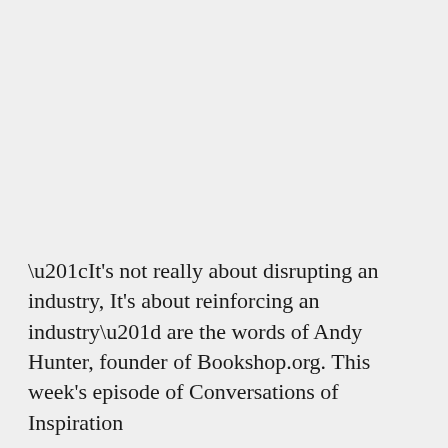“It's not really about disrupting an industry, It's about reinforcing an industry” are the words of Andy Hunter, founder of Bookshop.org. This week's episode of Conversations of Inspiration